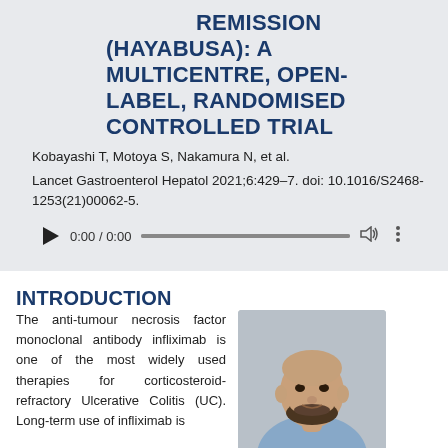REMISSION (HAYABUSA): A MULTICENTRE, OPEN-LABEL, RANDOMISED CONTROLLED TRIAL
Kobayashi T, Motoya S, Nakamura N, et al.
Lancet Gastroenterol Hepatol 2021;6:429–7. doi: 10.1016/S2468-1253(21)00062-5.
[Figure (other): Audio player widget showing 0:00 / 0:00 with play button, progress bar, volume and more icons]
INTRODUCTION
The anti-tumour necrosis factor monoclonal antibody infliximab is one of the most widely used therapies for corticosteroid-refractory Ulcerative Colitis (UC). Long-term use of infliximab is
[Figure (photo): Headshot photo of Rawen Kader, a man with a beard, wearing a light blue shirt, against a grey background]
Rawen Kader